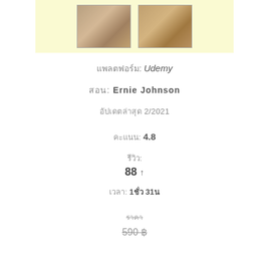[Figure (photo): Two small product/food images on a light yellow background at top of page]
แพลตฟอร์ม: Udemy
สอน: Ernie Johnson
อัปเดตล่าสุด 2/2021
คะแนน: 4.8
รีวิว:
88 ↑
เวลา: 1ชั่ว 31น
ราคา
590 ฿ (strikethrough)